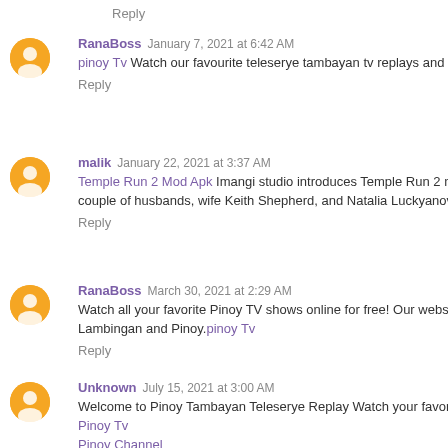Reply
RanaBoss  January 7, 2021 at 6:42 AM
pinoy Tv Watch our favourite teleserye tambayan tv replays and get in to...
Reply
malik  January 22, 2021 at 3:37 AM
Temple Run 2 Mod Apk Imangi studio introduces Temple Run 2 mod Ap... couple of husbands, wife Keith Shepherd, and Natalia Luckyanova. This...
Reply
RanaBoss  March 30, 2021 at 2:29 AM
Watch all your favorite Pinoy TV shows online for free! Our website... Lambingan and Pinoy.pinoy Tv
Reply
Unknown  July 15, 2021 at 3:00 AM
Welcome to Pinoy Tambayan Teleserye Replay Watch your favorite Pino...
Pinoy Tv
Pinoy Channel
Pinoy Tambayan